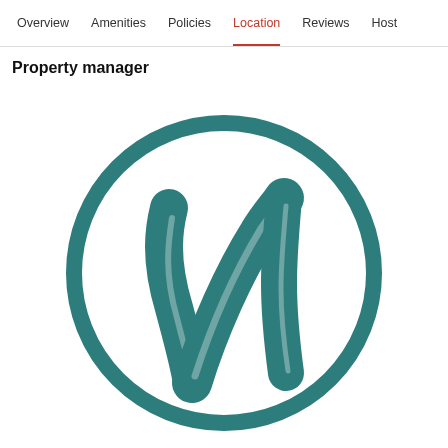Overview  Amenities  Policies  Location  Reviews  Host
Property manager
[Figure (logo): Circular logo with teal/dark-cyan color featuring a stylized cursive letter N or M drawn with brushstroke style inside a circle outline, on a white background.]